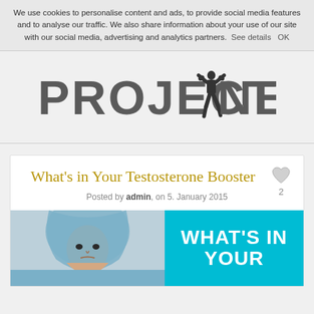We use cookies to personalise content and ads, to provide social media features and to analyse our traffic. We also share information about your use of our site with our social media, advertising and analytics partners. See details   OK
[Figure (logo): PROJECT NEXT logo with a bodybuilder silhouette between the two words, bold gray lettering]
What's in Your Testosterone Booster
Posted by admin, on 5. January 2015
[Figure (photo): Man wearing a blue hoodie looking intensely at camera, with cyan/teal overlay text reading WHAT'S IN YOUR]